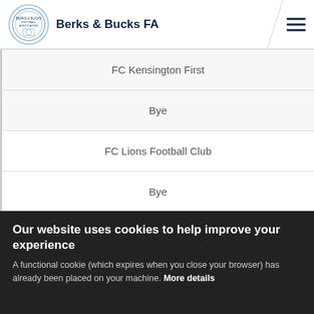Berks & Bucks FA
FC Kensington First
Bye
FC Lions Football Club
Bye
Our website uses cookies to help improve your experience
A functional cookie (which expires when you close your browser) has already been placed on your machine. More details
ACCEPT COOKIES